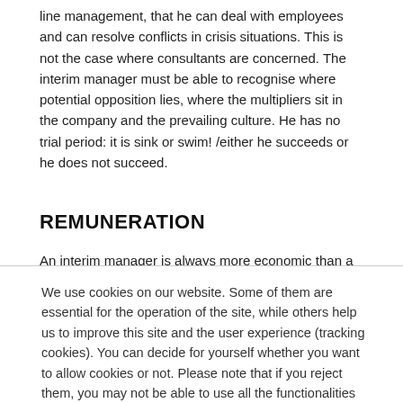line management, that he can deal with employees and can resolve conflicts in crisis situations. This is not the case where consultants are concerned. The interim manager must be able to recognise where potential opposition lies, where the multipliers sit in the company and the prevailing culture. He has no trial period: it is sink or swim! /either he succeeds or he does not succeed.
REMUNERATION
An interim manager is always more economic than a consultant or a salaried employee. Particularly as a major part of the fee can be defined as performance based. His contract offers flexibility in
We use cookies on our website. Some of them are essential for the operation of the site, while others help us to improve this site and the user experience (tracking cookies). You can decide for yourself whether you want to allow cookies or not. Please note that if you reject them, you may not be able to use all the functionalities of the site.